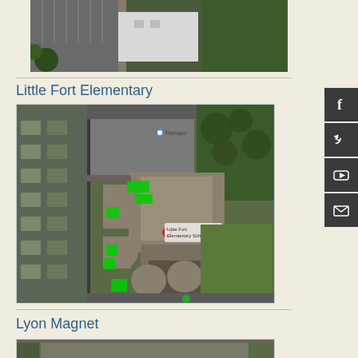[Figure (photo): Aerial satellite view of a school building with parking lot and green fields, partially cropped at top]
Little Fort Elementary
[Figure (map): Aerial/satellite map view of Little Fort Elementary school campus with green highlighted areas and a red location pin marker]
Lyon Magnet
[Figure (photo): Aerial satellite view of Lyon Magnet school, partially visible at bottom of page]